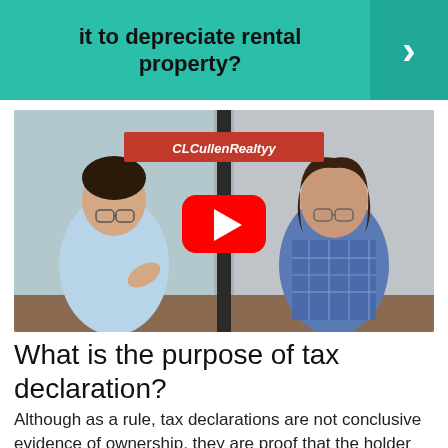it to depreciate rental property?
[Figure (screenshot): YouTube video thumbnail showing two women seated at a desk with a 'CLCullenRealtyy' banner and a YouTube play button overlay. Left woman wears a light blue outfit, right woman wears a plaid shirt. A dark vertical divider separates them.]
What is the purpose of tax declaration?
Although as a rule, tax declarations are not conclusive evidence of ownership, they are proof that the holder has a claim of title over